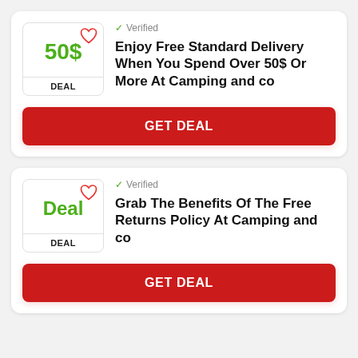[Figure (other): Deal badge showing '50$' in green with heart icon and 'DEAL' label]
✓ Verified
Enjoy Free Standard Delivery When You Spend Over 50$ Or More At Camping and co
GET DEAL
[Figure (other): Deal badge showing 'Deal' in green with heart icon and 'DEAL' label]
✓ Verified
Grab The Benefits Of The Free Returns Policy At Camping and co
GET DEAL